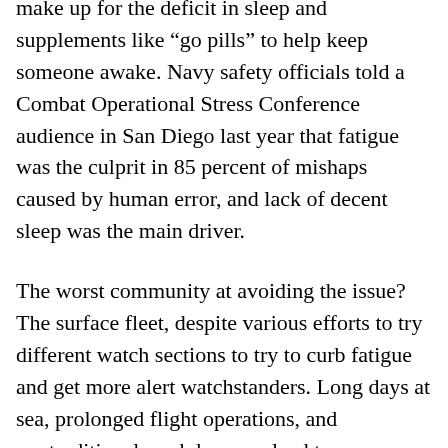make up for the deficit in sleep and supplements like "go pills" to help keep someone awake. Navy safety officials told a Combat Operational Stress Conference audience in San Diego last year that fatigue was the culprit in 85 percent of mishaps caused by human error, and lack of decent sleep was the main driver.
The worst community at avoiding the issue? The surface fleet, despite various efforts to try different watch sections to try to curb fatigue and get more alert watchstanders. Long days at sea, prolonged flight operations, and nontraditional workdays can lead to more disrupted sleep and more fatigue. Eight hours of sleep? Mission impossible. Short naps instead? Not always seen as professional, although there's growing research of its value in keeping folks alert. This 2006 thesis by a student at Naval Postgraduate School in Monterey, Calif., found big benefits of naps at least 20 minutes long.